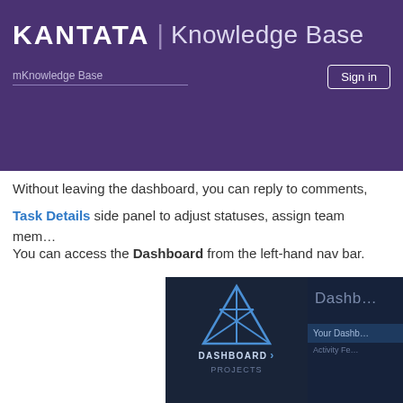KANTATA | Knowledge Base
Without leaving the dashboard, you can reply to comments, Task Details side panel to adjust statuses, assign team mem…
You can access the Dashboard from the left-hand nav bar.
[Figure (screenshot): Screenshot of Kantata application showing left navigation bar with dashboard icon and menu items including DASHBOARD and PROJECTS, and right panel showing Dashboard label and 'Your Dashb…' bar]